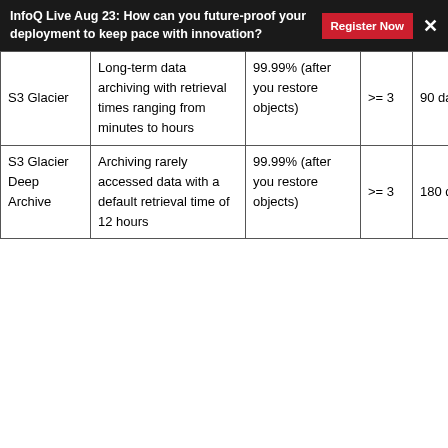InfoQ Live Aug 23: How can you future-proof your deployment to keep pace with innovation?
| Storage Class | Use Case | Availability | Min AZ | Min Storage Duration | Price |
| --- | --- | --- | --- | --- | --- |
| S3 Glacier | Long-term data archiving with retrieval times ranging from minutes to hours | 99.99% (after you restore objects) | >= 3 | 90 days | 40... |
| S3 Glacier Deep Archive | Archiving rarely accessed data with a default retrieval time of 12 hours | 99.99% (after you restore objects) | >= 3 | 180 days | 40... |